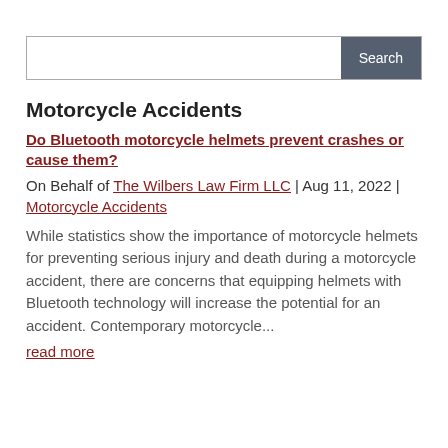Search
Motorcycle Accidents
Do Bluetooth motorcycle helmets prevent crashes or cause them?
On Behalf of The Wilbers Law Firm LLC | Aug 11, 2022 | Motorcycle Accidents
While statistics show the importance of motorcycle helmets for preventing serious injury and death during a motorcycle accident, there are concerns that equipping helmets with Bluetooth technology will increase the potential for an accident. Contemporary motorcycle...
read more
Do you have the right kind of motorcycle...